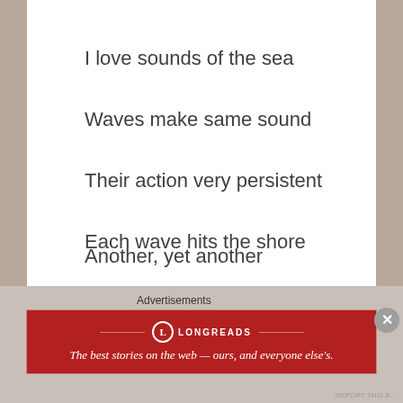I love sounds of the sea
Waves make same sound
Their action very persistent
Each wave hits the shore
And spreads around all over
Then follows another
Another, yet another
Advertisements
[Figure (other): Longreads advertisement banner — red background, logo with circle L, tagline: The best stories on the web — ours, and everyone else's.]